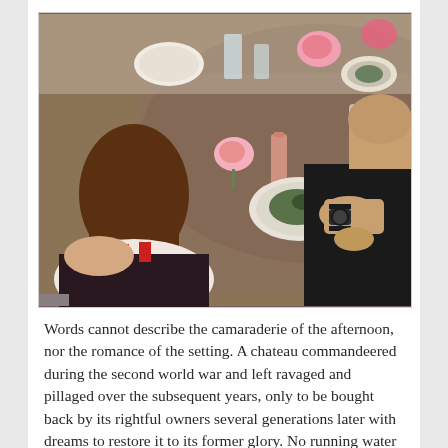[Figure (photo): People seated around a round table covered with a brown tablecloth at what appears to be a luncheon or dinner event. A woman in a patterned dress with red trim is seen from behind on the left, and a man in a black shirt is visible on the right. The table has plates, glasses, pink floral centerpieces, and various dishes.]
Words cannot describe the camaraderie of the afternoon, nor the romance of the setting. A chateau commandeered during the second world war and left ravaged and pillaged over the subsequent years, only to be bought back by its rightful owners several generations later with dreams to restore it to its former glory. No running water nor electricity, and much immagination needed when it came to bathrooms!